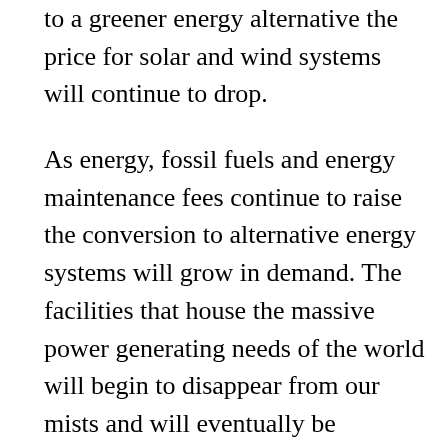to a greener energy alternative the price for solar and wind systems will continue to drop.
As energy, fossil fuels and energy maintenance fees continue to raise the conversion to alternative energy systems will grow in demand. The facilities that house the massive power generating needs of the world will begin to disappear from our mists and will eventually be replaced by greener, more environmentally responsible alternatives.
Solar Kit – A Kit is a Kit
They put it together for you. This is technical stuff and chances are that you have not done this before. You will not be able to foresee all of the